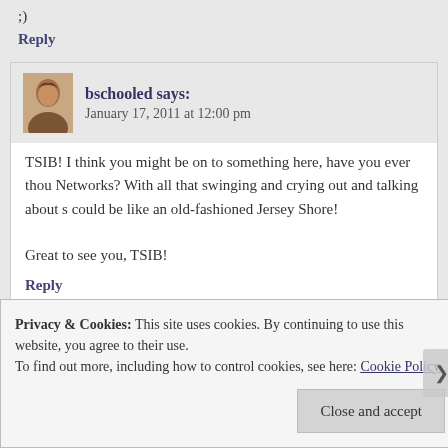;)
Reply
bschooled says: January 17, 2011 at 12:00 pm
TSIB! I think you might be on to something here, have you ever thou Networks? With all that swinging and crying out and talking about s could be like an old-fashioned Jersey Shore!

Great to see you, TSIB!
Reply
Privacy & Cookies: This site uses cookies. By continuing to use this website, you agree to their use.
To find out more, including how to control cookies, see here: Cookie Policy
Close and accept